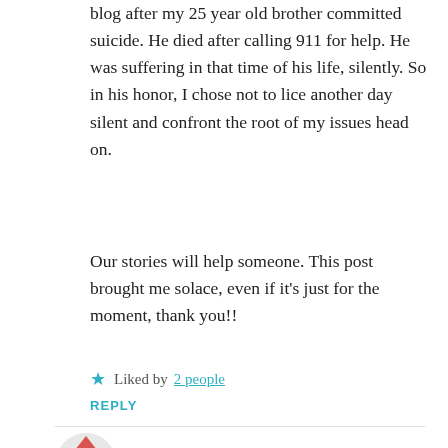blog after my 25 year old brother committed suicide. He died after calling 911 for help. He was suffering in that time of his life, silently. So in his honor, I chose not to lice another day silent and confront the root of my issues head on.
Our stories will help someone. This post brought me solace, even if it’s just for the moment, thank you!!
★ Liked by 2 people
REPLY
Lisa